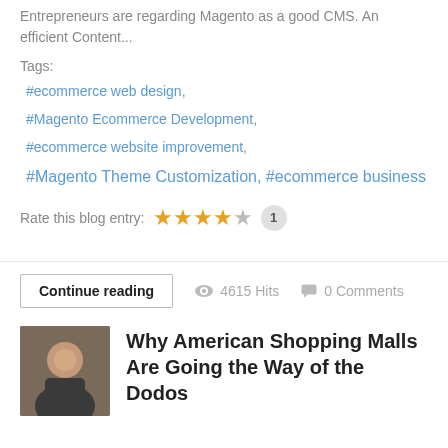Entrepreneurs are regarding Magento as a good CMS. An efficient Content...
Tags:
#ecommerce web design,
#Magento Ecommerce Development,
#ecommerce website improvement,
#Magento Theme Customization, #ecommerce business
Rate this blog entry: ★★★★☆ 1
Continue reading  👁 4615 Hits  💬 0 Comments
Why American Shopping Malls Are Going the Way of the Dodos